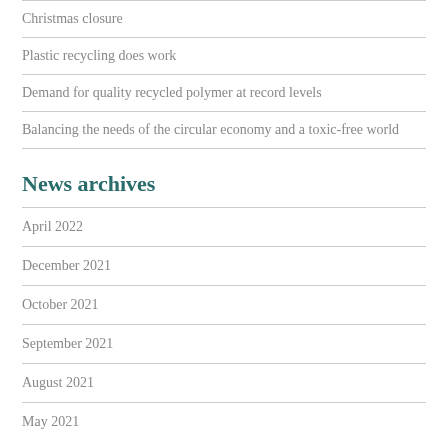Christmas closure
Plastic recycling does work
Demand for quality recycled polymer at record levels
Balancing the needs of the circular economy and a toxic-free world
News archives
April 2022
December 2021
October 2021
September 2021
August 2021
May 2021